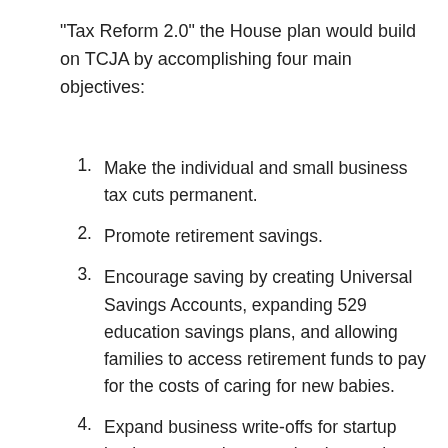“Tax Reform 2.0” the House plan would build on TCJA by accomplishing four main objectives:
Make the individual and small business tax cuts permanent.
Promote retirement savings.
Encourage saving by creating Universal Savings Accounts, expanding 529 education savings plans, and allowing families to access retirement funds to pay for the costs of caring for new babies.
Expand business write-offs for startup businesses and remove barriers to the growth of start-